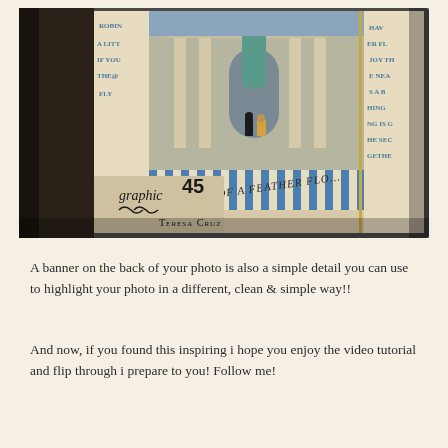[Figure (photo): A close-up photo of a scrapbook layout featuring a photograph of two people standing in front of a classical building with a blue-green statue. The layout uses blue and white striped patterned paper with text overlays including 'Birds of a Feather Flock' and decorative text strips on the sides. The Graphic 45 logo and 'Teresa Cruz' signature are visible at the bottom left of the layout.]
A banner on the back of your photo is also a simple detail you can use to highlight your photo in a different, clean & simple way!!
And now, if you found this inspiring i hope you enjoy the video tutorial and flip through i prepare to you! Follow me!